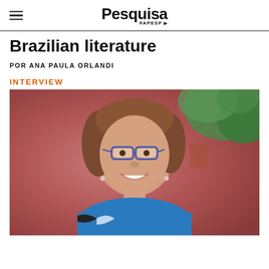Pesquisa FAPESP
Brazilian literature
POR ANA PAULA ORLANDI
INTERVIEW
[Figure (photo): Portrait photo of a smiling woman with brown hair, glasses, wearing a blue top with black and white pattern, against a reddish wall with green plants in the background.]